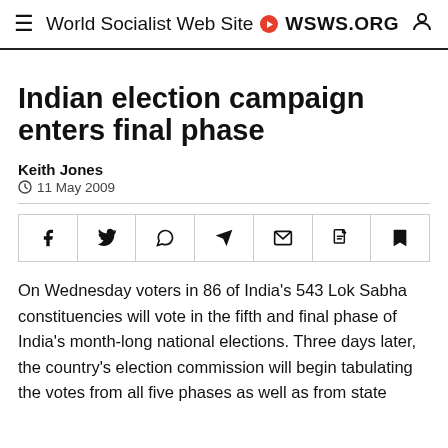World Socialist Web Site • WSWS.ORG
Indian election campaign enters final phase
Keith Jones
11 May 2009
[Figure (other): Social share icons row: Facebook, Twitter, WhatsApp, Telegram, Email, PDF, Bookmark]
On Wednesday voters in 86 of India's 543 Lok Sabha constituencies will vote in the fifth and final phase of India's month-long national elections. Three days later, the country's election commission will begin tabulating the votes from all five phases as well as from state assembly elections in the northern state of tall...